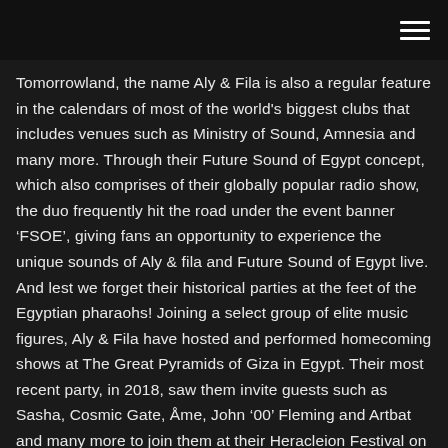Tomorrowland, the name Aly & Fila is also a regular feature in the calendars of most of the world's biggest clubs that includes venues such as Ministry of Sound, Amnesia and many more. Through their Future Sound of Egypt concept, which also comprises of their globally popular radio show, the duo frequently hit the road under the event banner ‘FSOE’, giving fans an opportunity to experience the unique sounds of Aly & fila and Future Sound of Egypt live. And lest we forget their historical parties at the feet of the Egyptian pharaohs! Joining a select group of elite music figures, Aly & Fila have hosted and performed homecoming shows at The Great Pyramids of Giza in Egypt. Their most recent party, in 2018, saw them invite guests such as Sasha, Cosmic Gate, Åme, John ’00’ Fleming and Artbat and many more to join them at their Heracleion Festival on the